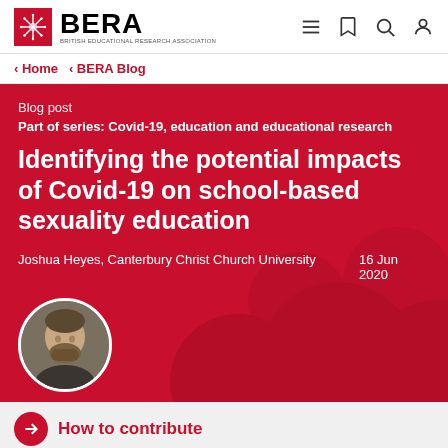BERA — British Educational Research Association
Home › BERA Blog
Blog post
Part of series: Covid-19, education and educational research
Identifying the potential impacts of Covid-19 on school-based sexuality education
Joshua Heyes, Canterbury Christ Church University   16 Jun 2020
[Figure (photo): Circular author headshot photo of Joshua Heyes, a bearded man]
How to contribute